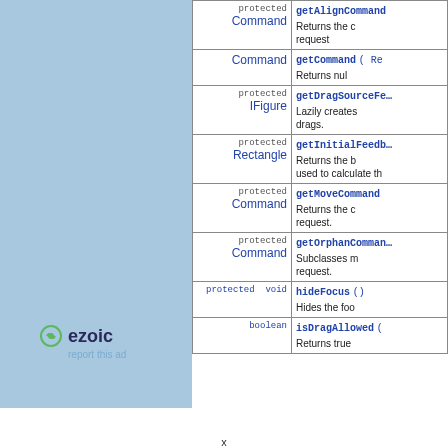| Type | Method / Description |
| --- | --- |
| protected Command | getAlignCommand
Returns the command for the align request |
| Command | getCommand ( Re...
Returns nul... |
| protected IFigure | getDragSourceFee...
Lazily creates... drags. |
| protected Rectangle | getInitialFeedb...
Returns the b... used to calculate th... |
| protected Command | getMoveCommand
Returns the c... request. |
| protected Command | getOrphanComman...
Subclasses m... request. |
| protected void | hideFocus ()
Hides the foo... |
| boolean | isDragAllowed (
Returns true ... |
[Figure (logo): Ezoic logo with green circular icon and 'ezoic' text, with 'report this ad' link below]
x